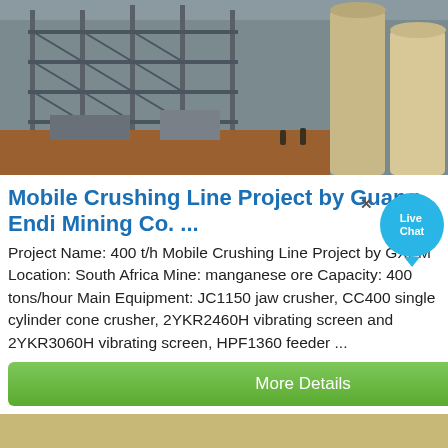[Figure (photo): Aerial view of industrial mining/crushing facility with metal scaffolding, conveyor belts and large cylindrical tanks or silos in background]
Mobile Crushing Line Project by Guang Endi Mining Co. ...
Project Name: 400 t/h Mobile Crushing Line Project by GXEM Location: South Africa Mine: manganese ore Capacity: 400 tons/hour Main Equipment: JC1150 jaw crusher, CC400 single cylinder cone crusher, 2YKR2460H vibrating screen and 2YKR3060H vibrating screen, HPF1360 feeder ...
More Details
[Figure (photo): Close-up ground-level view of crushed ore/rock material, yellowish-grey stones and gravel]